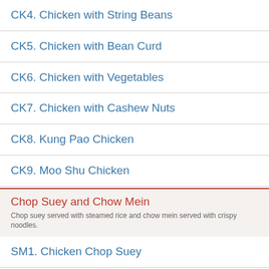CK4. Chicken with String Beans
CK5. Chicken with Bean Curd
CK6. Chicken with Vegetables
CK7. Chicken with Cashew Nuts
CK8. Kung Pao Chicken
CK9. Moo Shu Chicken
Chop Suey and Chow Mein
SM1. Chicken Chop Suey
SM1. Chicken Chow Mein
SM2. Beef Chop Suey